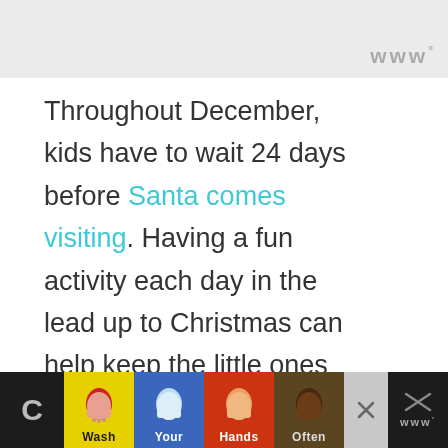w°
Throughout December, kids have to wait 24 days before Santa comes visiting. Having a fun activity each day in the lead up to Christmas can help keep the little ones busy and excited.
This calendar is filled with simple
[Figure (screenshot): Bottom advertisement bar with colorful hand-washing campaign showing hands in yellow, blue, red, and brown sections with text 'Wash Your Hands Often']